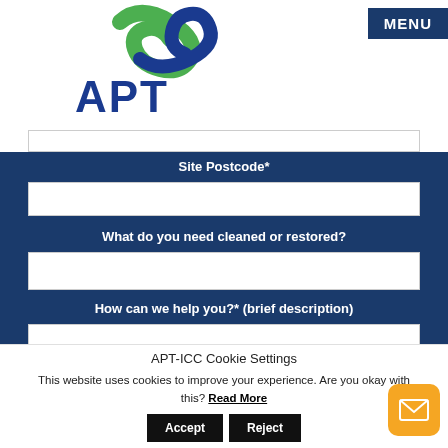[Figure (logo): APT company logo with green and blue swirl above blue APT text]
MENU
Site Postcode*
What do you need cleaned or restored?
How can we help you?* (brief description)
APT-ICC Cookie Settings
This website uses cookies to improve your experience. Are you okay with this? Read More
Accept
Reject